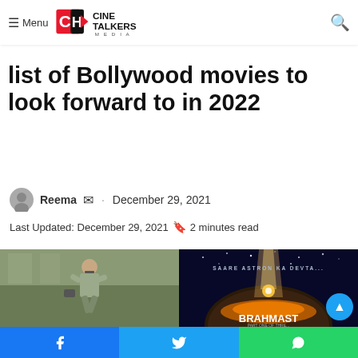Cine Talkers Media — Menu | Search
list of Bollywood movies to look forward to in 2022
Reema · December 29, 2021
Last Updated: December 29, 2021  2 minutes read
[Figure (photo): Two movie promotional images side by side: left shows an actor in a grey shirt running, right shows a fantasy/sci-fi movie poster with text SAARE ASTRON KA DEVTA and BRAHMAST]
Social share buttons: Facebook, Twitter, WhatsApp